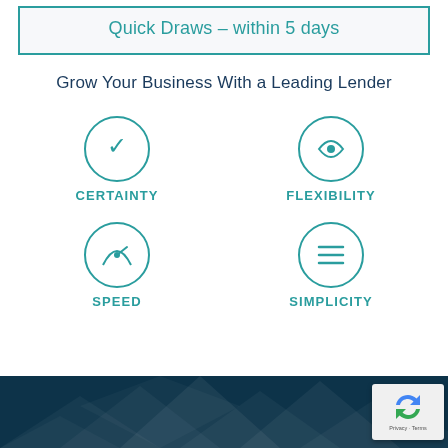Quick Draws – within 5 days
Grow Your Business With a Leading Lender
[Figure (infographic): Four icons grid: CERTAINTY (top-left), FLEXIBILITY (top-right), SPEED (bottom-left), SIMPLICITY (bottom-right) — each with a circular icon above the label]
[Figure (photo): Dark teal architectural/geometric background image at bottom of page]
[Figure (other): reCAPTCHA badge overlay in bottom-right corner showing recycling arrow icon and 'Privacy · Terms' text]